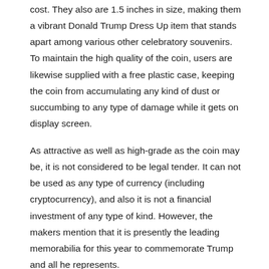cost. They also are 1.5 inches in size, making them a vibrant Donald Trump Dress Up item that stands apart among various other celebratory souvenirs. To maintain the high quality of the coin, users are likewise supplied with a free plastic case, keeping the coin from accumulating any kind of dust or succumbing to any type of damage while it gets on display screen.
As attractive as well as high-grade as the coin may be, it is not considered to be legal tender. It can not be used as any type of currency (including cryptocurrency), and also it is not a financial investment of any type of kind. However, the makers mention that it is presently the leading memorabilia for this year to commemorate Trump and all he represents.
Buying the President Trump 2022 Coin.
If customers made a decision to buy the President Trump 2022